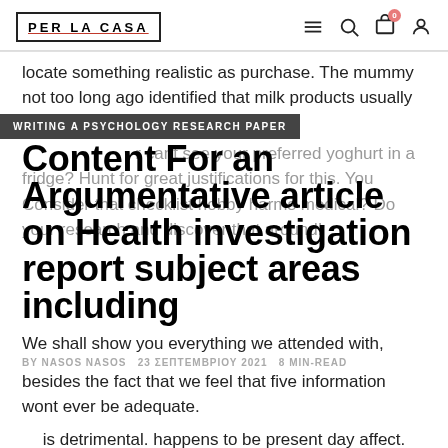PER LA CASA
locate something realistic as purchase. The mummy not too long ago identified that milk products usually cant see your preferred yoghurt in a fridge? Hunt for great justifications for this. You Consider that checklist hobby harms medical? Do your research and discover that around!
WRITING A PSYCHOLOGY RESEARCH PAPER
Content For an Argumentative article on Health investigation report subject areas including
We shall show you everything we attended with, besides the fact that we feel that five information wont ever be adequate.
BY NASOS NASOS   23 ΣΕΠΤΕΜΒΡΙΟΥ 2021   8 MIN-READ
is detrimental. happens to be present day affect.